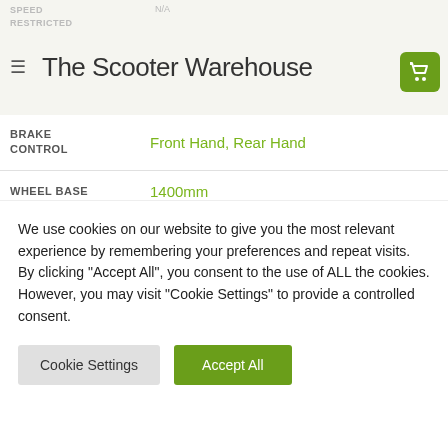The Scooter Warehouse
| Spec | Value |
| --- | --- |
| BRAKE CONTROL | Front Hand, Rear Hand |
| WHEEL BASE | 1400mm |
| WARRANTY PERIOD | 2 Years |
Apply Here:
We use cookies on our website to give you the most relevant experience by remembering your preferences and repeat visits. By clicking "Accept All", you consent to the use of ALL the cookies. However, you may visit "Cookie Settings" to provide a controlled consent.